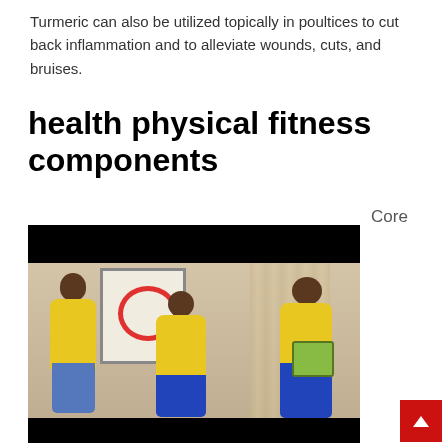Turmeric can also be utilized topically in poultices to cut back inflammation and to alleviate wounds, cuts, and bruises.
health physical fitness components
Core
[Figure (photo): Three women wearing yellow shirts and blue pants standing around a display board and a whiteboard, appearing to be at a health or educational workshop.]